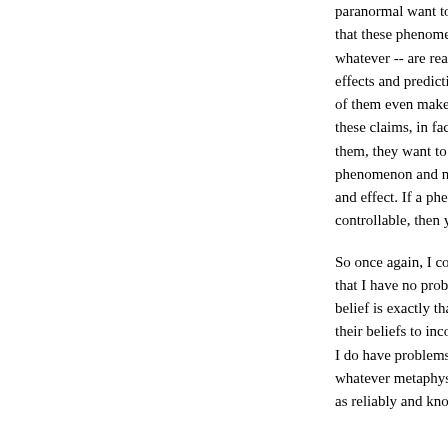paranormal want to have it both ways: they want to claim that these phenomenon -- astrology, psychics, whatever -- are real and reliable enough for producing effects and predicting results in the real world. (Some of them even make substantial amounts of money on these claims, in fact.) But when pressed to really test them, they want to claim that the phenomenon is a phenomenon and not subject to ordinary rules of cause and effect. If a phenomenon isn't testable and controllable, then you shouldn't be able to use it.
So once again, I come back to my original point: that I have no problem with belief so long as that belief is exactly that -- belief, not knowledge. Adjust their beliefs to incorporate new I do have problems with believers who treat whatever metaphysical thing they happen to believe as reliably and knowably true as